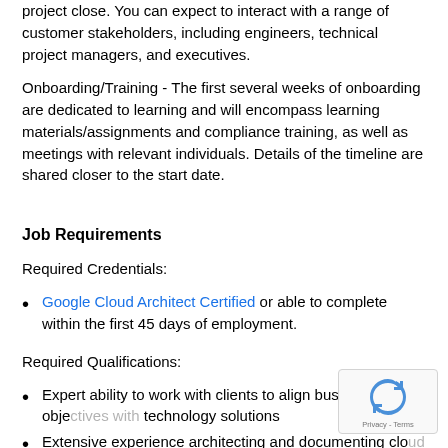project close. You can expect to interact with a range of customer stakeholders, including engineers, technical project managers, and executives.
Onboarding/Training - The first several weeks of onboarding are dedicated to learning and will encompass learning materials/assignments and compliance training, as well as meetings with relevant individuals. Details of the timeline are shared closer to the start date.
Job Requirements
Required Credentials:
Google Cloud Architect Certified or able to complete within the first 45 days of employment.
Required Qualifications:
Expert ability to work with clients to align business objectives with technology solutions
Extensive experience architecting and documenting cloud infrastructure modernization solutions